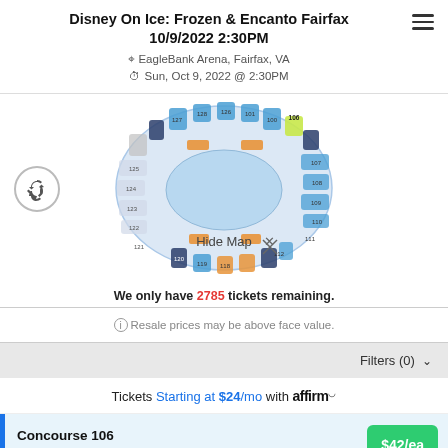Disney On Ice: Frozen & Encanto Fairfax
10/9/2022 2:30PM
EagleBank Arena, Fairfax, VA
Sun, Oct 9, 2022 @ 2:30PM
[Figure (illustration): Arena seating map showing sections numbered 101-130+ arranged around an oval ice rink. Sections highlighted in blue, orange/gold, dark navy, and yellow-green. A 'Hide Map' label appears at the bottom center of the map.]
We only have 2785 tickets remaining.
Resale prices may be above face value.
Filters (0)
Tickets Starting at $24/mo with affirm
Concourse 106
Row X • 1-8 or 10 Tickets
$42/ea